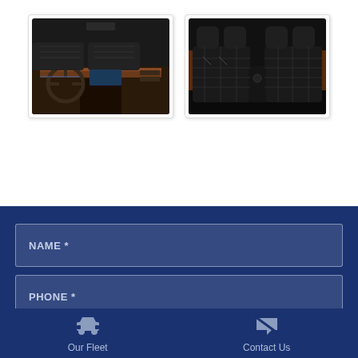[Figure (photo): Car interior dashboard view with leather seats and wood trim]
[Figure (photo): Luxury car rear seats with black leather and diamond stitching]
NAME *
PHONE *
Our Fleet
Contact Us